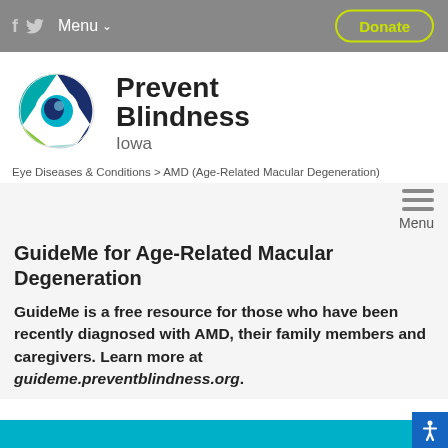f  [twitter]  Menu  Donate
[Figure (logo): Prevent Blindness Iowa circular logo with blue, teal, green segments forming an eye shape]
Prevent Blindness Iowa
Eye Diseases & Conditions > AMD (Age-Related Macular Degeneration)
Menu
GuideMe for Age-Related Macular Degeneration
GuideMe is a free resource for those who have been recently diagnosed with AMD, their family members and caregivers. Learn more at guideme.preventblindness.org.